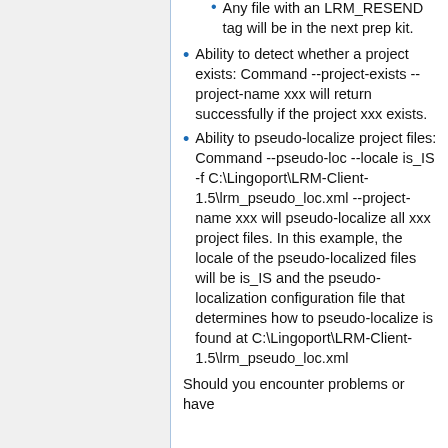Any file with an LRM_RESEND tag will be in the next prep kit.
Ability to detect whether a project exists: Command --project-exists --project-name xxx will return successfully if the project xxx exists.
Ability to pseudo-localize project files: Command --pseudo-loc --locale is_IS -f C:\Lingoport\LRM-Client-1.5\lrm_pseudo_loc.xml --project-name xxx will pseudo-localize all xxx project files. In this example, the locale of the pseudo-localized files will be is_IS and the pseudo-localization configuration file that determines how to pseudo-localize is found at C:\Lingoport\LRM-Client-1.5\lrm_pseudo_loc.xml
Should you encounter problems or have